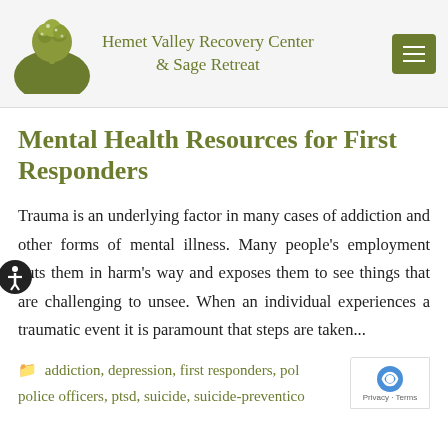Hemet Valley Recovery Center & Sage Retreat
Mental Health Resources for First Responders
Trauma is an underlying factor in many cases of addiction and other forms of mental illness. Many people's employment puts them in harm's way and exposes them to see things that are challenging to unsee. When an individual experiences a traumatic event it is paramount that steps are taken...
addiction, depression, first responders, po... police officers, ptsd, suicide, suicide-preventic...